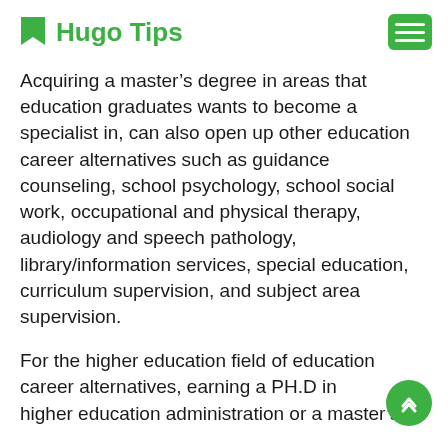Hugo Tips
Acquiring a master’s degree in areas that education graduates wants to become a specialist in, can also open up other education career alternatives such as guidance counseling, school psychology, school social work, occupational and physical therapy, audiology and speech pathology, library/information services, special education, curriculum supervision, and subject area supervision.
For the higher education field of education career alternatives, earning a PH.D in higher education administration or a master’s in student personnel or student development or master’s in library/information sciences will give great